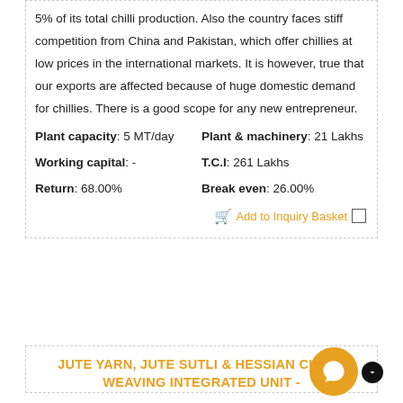5% of its total chilli production. Also the country faces stiff competition from China and Pakistan, which offer chillies at low prices in the international markets. It is however, true that our exports are affected because of huge domestic demand for chillies. There is a good scope for any new entrepreneur.
Plant capacity: 5 MT/day   Plant & machinery: 21 Lakhs   Working capital: -   T.C.I: 261 Lakhs   Return: 68.00%   Break even: 26.00%
Add to Inquiry Basket
JUTE YARN, JUTE SUTLI & HESSIAN CLOTH WEAVING INTEGRATED UNIT -